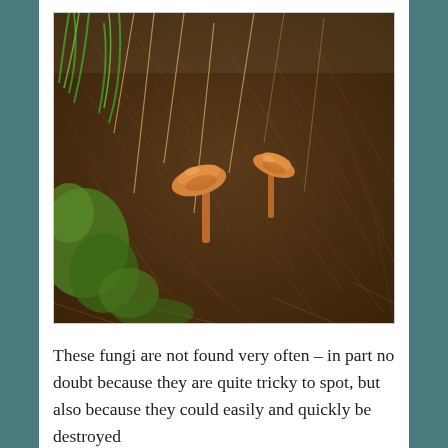[Figure (photo): Close-up photograph of two small orange fungi growing among dark brown fibrous organic matter and green moss on the ground.]
These fungi are not found very often – in part no doubt because they are quite tricky to spot, but also because they could easily and quickly be destroyed